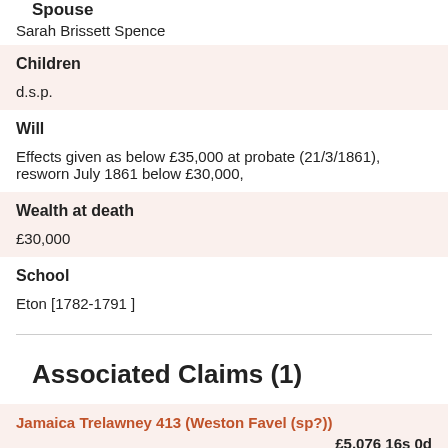Spouse
Sarah Brissett Spence
Children
d.s.p.
Will
Effects given as below £35,000 at probate (21/3/1861), resworn July 1861 below £30,000,
Wealth at death
£30,000
School
Eton [1782-1791 ]
Associated Claims (1)
Jamaica Trelawney 413 (Weston Favel (sp?))
£5,076 16s 0d